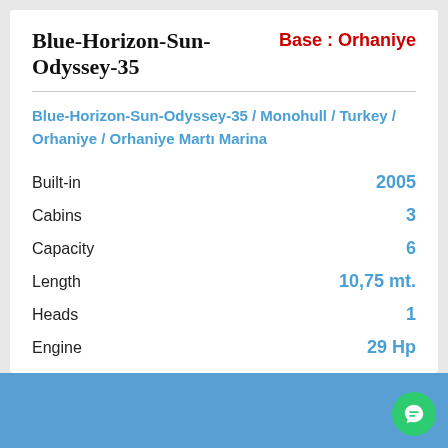Blue-Horizon-Sun-Odyssey-35
Base : Orhaniye
Blue-Horizon-Sun-Odyssey-35 / Monohull / Turkey / Orhaniye / Orhaniye Martı Marina
| Spec | Value |
| --- | --- |
| Built-in | 2005 |
| Cabins | 3 |
| Capacity | 6 |
| Length | 10,75 mt. |
| Heads | 1 |
| Engine | 29 Hp |
1.990 Euro / Weekly